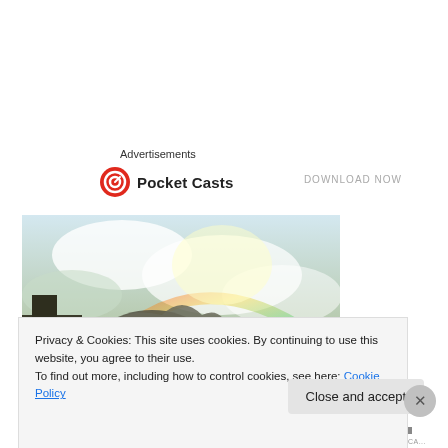Advertisements
[Figure (logo): Pocket Casts logo with red circular icon and brand name]
DOWNLOAD NOW
[Figure (photo): Artistic/fantasy scene showing a large creature or dragon in a cloudy sky with a rainbow and city buildings]
Privacy & Cookies: This site uses cookies. By continuing to use this website, you agree to their use.
To find out more, including how to control cookies, see here: Cookie Policy
Close and accept